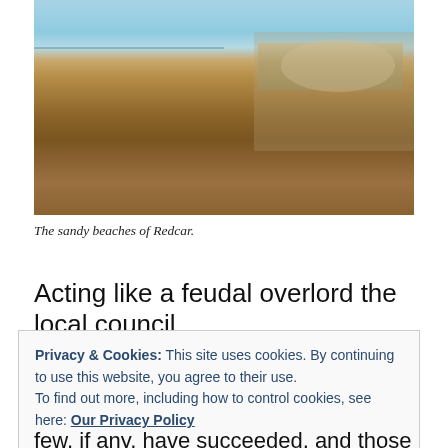[Figure (photo): A sandy beach at Redcar with golden-brown sand in the foreground, a calm sea on the left, and buildings/structures visible along the coastline on the right under a light blue sky.]
The sandy beaches of Redcar.
Acting like a feudal overlord the local council,
Privacy & Cookies: This site uses cookies. By continuing to use this website, you agree to their use.
To find out more, including how to control cookies, see here: Our Privacy Policy
few, if any, have succeeded, and those that have